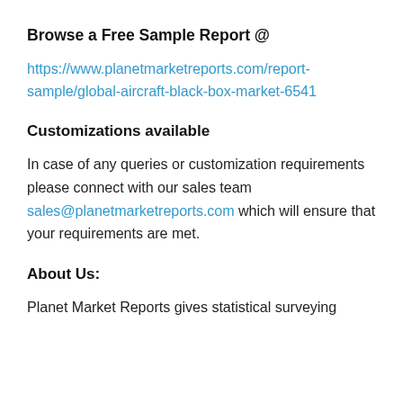Browse a Free Sample Report @
https://www.planetmarketreports.com/report-sample/global-aircraft-black-box-market-6541
Customizations available
In case of any queries or customization requirements please connect with our sales team sales@planetmarketreports.com which will ensure that your requirements are met.
About Us:
Planet Market Reports gives statistical surveying